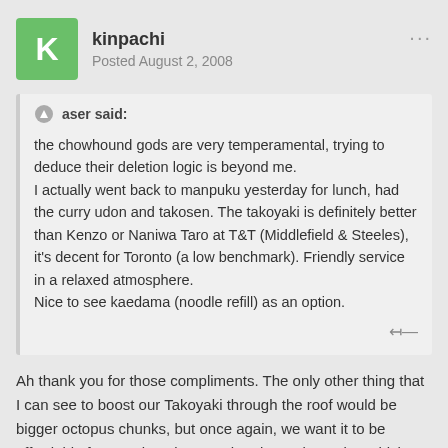kinpachi
Posted August 2, 2008
aser said:
the chowhound gods are very temperamental, trying to deduce their deletion logic is beyond me.
I actually went back to manpuku yesterday for lunch, had the curry udon and takosen. The takoyaki is definitely better than Kenzo or Naniwa Taro at T&T (Middlefield & Steeles), it's decent for Toronto (a low benchmark). Friendly service in a relaxed atmosphere.
Nice to see kaedama (noodle refill) as an option.
Ah thank you for those compliments. The only other thing that I can see to boost our Takoyaki through the roof would be bigger octopus chunks, but once again, we want it to be affordable for people. It is an authentic Osaka recipe which we adjusted just